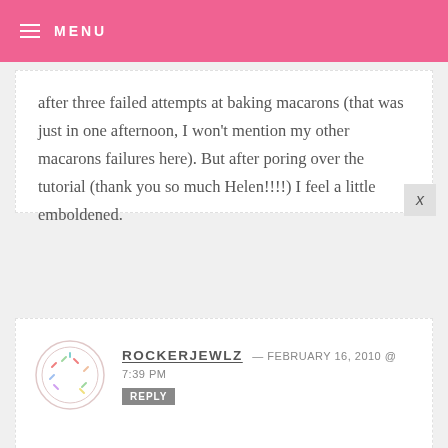MENU
after three failed attempts at baking macarons (that was just in one afternoon, I won't mention my other macarons failures here). But after poring over the tutorial (thank you so much Helen!!!!) I feel a little emboldened.
ROCKERJEWLZ — FEBRUARY 16, 2010 @ 7:39 PM REPLY